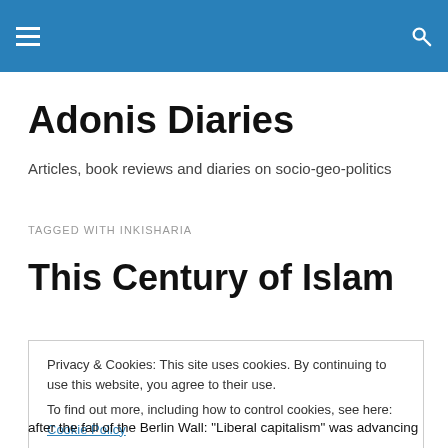Adonis Diaries
Adonis Diaries
Articles, book reviews and diaries on socio-geo-politics
TAGGED WITH INKISHARIA
This Century of Islam
Privacy & Cookies: This site uses cookies. By continuing to use this website, you agree to their use.
To find out more, including how to control cookies, see here: Cookie Policy
after the fall of the Berlin Wall: “Liberal capitalism” was advancing